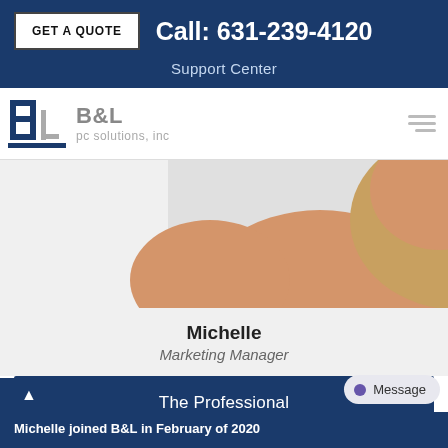GET A QUOTE   Call: 631-239-4120   Support Center
[Figure (logo): B&L PC Solutions Inc logo with stylized B&L letters in blue and grey]
[Figure (photo): Partial photo of Michelle, a woman with blonde hair wearing a dark navy blue top]
Michelle
Marketing Manager
The Professional
On a Personal Level
Michelle joined B&L in February of 2020